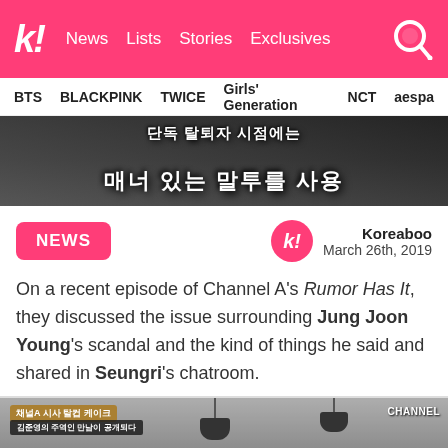k! News Lists Stories Exclusives
BTS BLACKPINK TWICE Girls' Generation NCT aespa
[Figure (screenshot): Korean text on dark background banner image]
NEWS
Koreaboo
March 26th, 2019
On a recent episode of Channel A's Rumor Has It, they discussed the issue surrounding Jung Joon Young's scandal and the kind of things he said and shared in Seungri's chatroom.
[Figure (screenshot): Channel A TV show screenshot with Korean text overlays and hanging lamp decorations, showing news program]